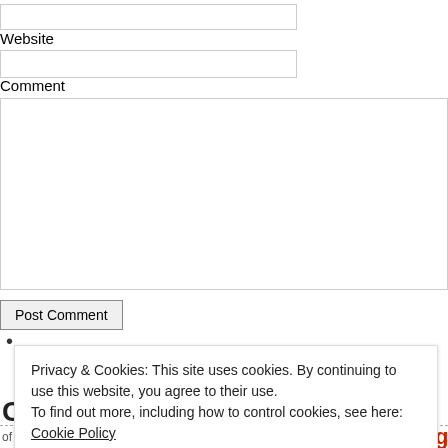Website
Comment
Post Comment
Privacy & Cookies: This site uses cookies. By continuing to use this website, you agree to their use.
To find out more, including how to control cookies, see here: Cookie Policy
Close and accept
C
of ~~~~~~~~~~~~~~Copenhagen, Denmark~~~~~~~~~~~~~~  #platform4uk Aalborg